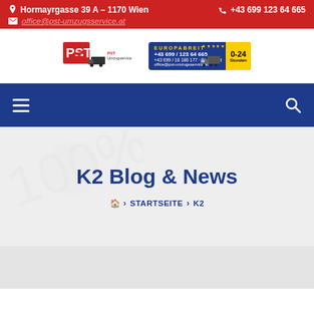Hormayrgasse 39 A – 1170 Wien   +43 699 123 64 665   office@pst-umzugsservice.at
[Figure (logo): PST Umzugservice logo with truck and contact details]
Navigation bar with hamburger menu and search icon
K2 Blog & News
🏠 > STARTSEITE > K2